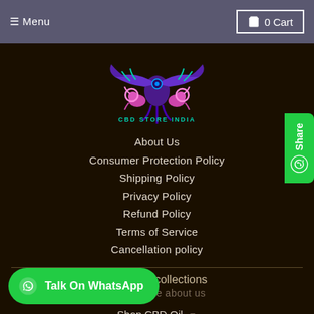≡ Menu   0 Cart
[Figure (logo): CBD Store India logo - purple eagle with pink lions and cyan accents, text 'CBD STORE INDIA' below]
About Us
Consumer Protection Policy
Shipping Policy
Privacy Policy
Refund Policy
Terms of Service
Cancellation policy
Featured collections
Learn more about us
Shop CBD Oil ▾
Shop Vijaya/ Medical Cannabis Oil ▾
Shop Hemp ▾
Herbal, Fungi & Vedic ▾
Shop By Brands